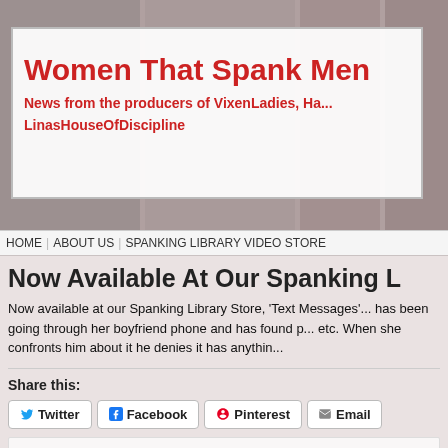Women That Spank Men
News from the producers of VixenLadies, Ha... LinasHouseOfDiscipline
HOME | ABOUT US | SPANKING LIBRARY VIDEO STORE
Now Available At Our Spanking L...
Now available at our Spanking Library Store, 'Text Messages' has been going through her boyfriend phone and has found p... etc. When she confronts him about it he denies it has anythin...
Share this:
Twitter | Facebook | Pinterest | Email
September 29th, 2019 | Tags: Miss Zoe, News, Spanknig Lib... Library, Videos, Vixen Ladies | Comments are closed
Now Available At Our Spanking L...